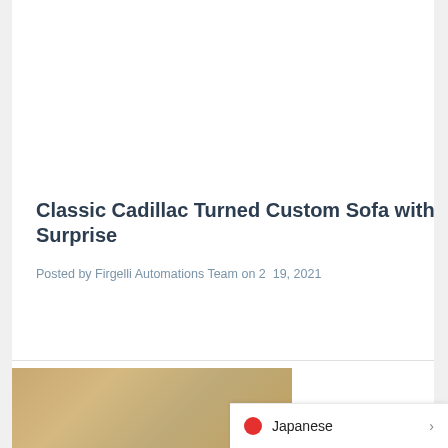[Figure (photo): Close-up photo of a dark blue fabric or upholstered surface with a bright blue/purple background lighting, showing the texture of what appears to be a custom sofa]
Classic Cadillac Turned Custom Sofa with Surprise
Posted by Firgelli Automations Team on 2  19, 2021
[Figure (photo): Partial view of a tan/beige colored surface, likely the bottom portion of the featured image showing the custom Cadillac sofa]
Japanese